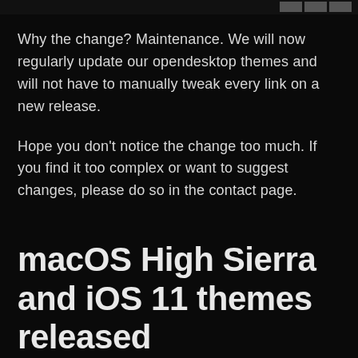[Figure (screenshot): Partial image strip at top of page showing thumbnail images on the right side against dark background]
Why the change? Maintenance. We will now regularly update our opendesktop themes and will not have to manually tweak every link on a new release.
Hope you don't notice the change too much. If you find it too complex or want to suggest changes, please do so in the contact page.
macOS High Sierra and iOS 11 themes released
4/2/2018    0 Comments